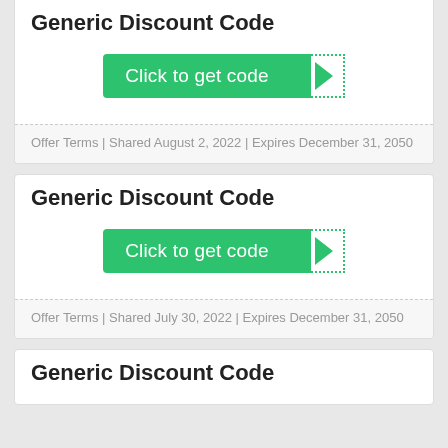Generic Discount Code
[Figure (other): Green 'Click to get code' button with arrow and dotted border reveal section]
Offer Terms | Shared August 2, 2022 | Expires December 31, 2050
Generic Discount Code
[Figure (other): Green 'Click to get code' button with arrow and dotted border reveal section]
Offer Terms | Shared July 30, 2022 | Expires December 31, 2050
Generic Discount Code